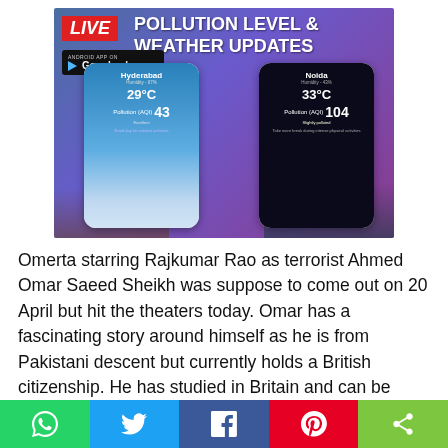[Figure (screenshot): Advertisement banner showing 'LIVE POLLUTION LEVEL & WEATHER UPDATES' with Android app on Google Play, and two smartphone mockups showing weather/pollution data for Hyderabad (29°C, Pollution AQI 43) and Noida (33°C, Pollution AQI 104)]
Omerta starring Rajkumar Rao as terrorist Ahmed Omar Saeed Sheikh was suppose to come out on 20 April but hit the theaters today. Omar has a fascinating story around himself as he is from Pakistani descent but currently holds a British citizenship. He has studied in Britain and can be
[Figure (infographic): Social sharing bar with WhatsApp, Twitter, Facebook, Pinterest, and share buttons]